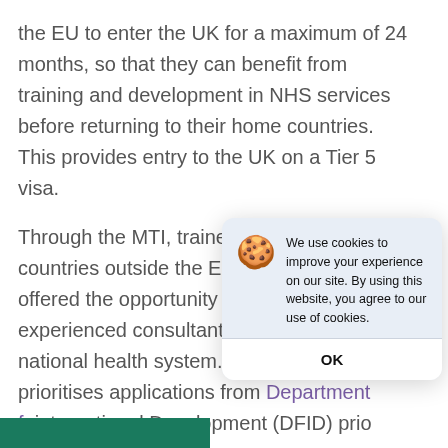the EU to enter the UK for a maximum of 24 months, so that they can benefit from training and development in NHS services before returning to their home countries. This provides entry to the UK on a Tier 5 visa.
Through the MTI, trainee doctors from countries outside the European Union are offered the opportunity to learn from experienced consultants within the UK national health system. The scheme prioritises applications from Department for International Development (DFID) priority countries or W... Income Countr...
For more infor...
[Figure (screenshot): Cookie consent dialog overlay on the page. Contains a cookie emoji, text 'We use cookies to improve your experience on our site. By using this website, you agree to our use of cookies.' and an OK button.]